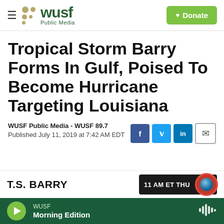WUSF Public Media
Tropical Storm Barry Forms In Gulf, Poised To Become Hurricane Targeting Louisiana
WUSF Public Media - WUSF 89.7
Published July 11, 2019 at 7:42 AM EDT
[Figure (screenshot): T.S. BARRY weather panel showing 11 AM ET THU with globe icon]
WUSF Morning Edition